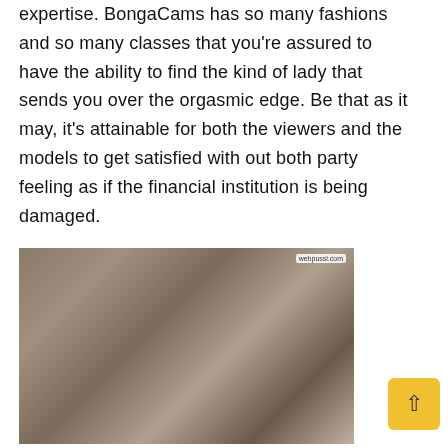expertise. BongaCams has so many fashions and so many classes that you're assured to have the ability to find the kind of lady that sends you over the orgasmic edge. Be that as it may, it's attainable for both the viewers and the models to get satisfied with out both party feeling as if the financial institution is being damaged.
[Figure (photo): A person wearing a grey tank top, photographed from a webcam. Watermark reads webpussl.com in top right corner.]